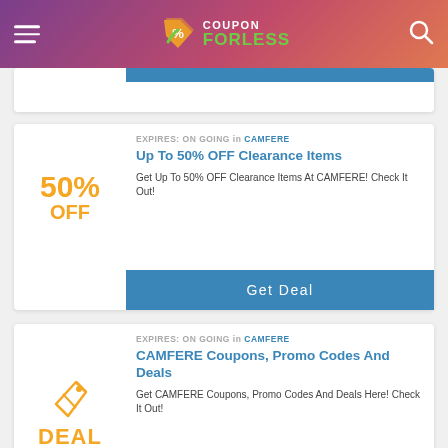COUPON FORLESS
EXPIRES: ON GOING in CAMFERE
Up To 50% OFF Clearance Items
Get Up To 50% OFF Clearance Items At CAMFERE! Check It Out!
Get Deal
EXPIRES: ON GOING in CAMFERE
CAMFERE Coupons, Promo Codes And Deals
Get CAMFERE Coupons, Promo Codes And Deals Here! Check It Out!
Get Deal